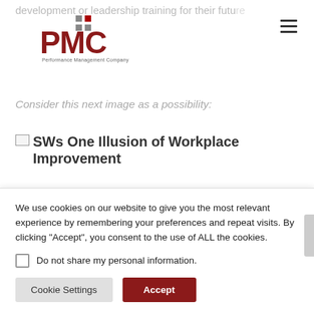development or leadership training for their future
[Figure (logo): PMC Performance Management Company logo with dots grid]
Consider this next image as a possibility:
[Figure (photo): Broken image placeholder with alt text: SWs One Illusion of Workplace Improvement]
We use cookies on our website to give you the most relevant experience by remembering your preferences and repeat visits. By clicking “Accept”, you consent to the use of ALL the cookies.
Do not share my personal information.
Cookie Settings | Accept